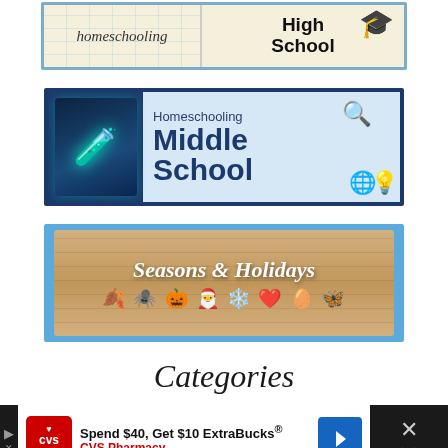[Figure (illustration): Partial banner for Homeschooling High School with notebook paper background and graduation cap]
[Figure (illustration): Banner for Homeschooling Middle School with dark blue border, science beaker illustration on left, and bold text on right with magnifying glass, globe, and lightbulb icons]
[Figure (illustration): Banner for Seasons and Holidays with light blue border and wood-grain background, white italic text, and seasonal emoji icons including leaf, spider, pumpkin, Santa hat, snowflake, heart, egg, and butterfly]
Categories
[Figure (illustration): CVS Pharmacy advertisement: Spend $40, Get $10 ExtraBucks®]